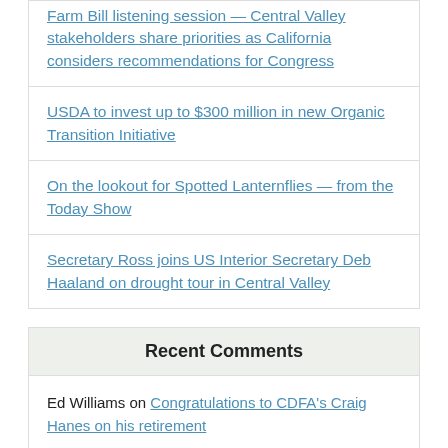Farm Bill listening session — Central Valley stakeholders share priorities as California considers recommendations for Congress
USDA to invest up to $300 million in new Organic Transition Initiative
On the lookout for Spotted Lanternflies — from the Today Show
Secretary Ross joins US Interior Secretary Deb Haaland on drought tour in Central Valley
Recent Comments
Ed Williams on Congratulations to CDFA's Craig Hanes on his retirement
Ed King on Congratulations to CDFA's Craig Hanes on his retirement